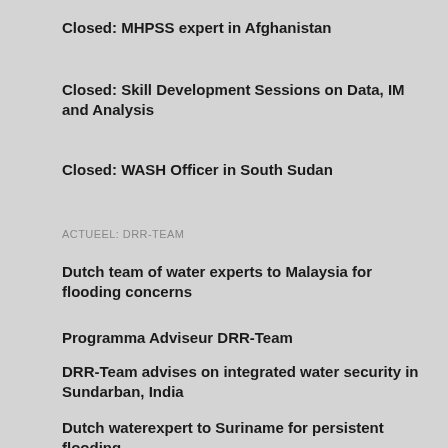Closed: MHPSS expert in Afghanistan
Closed: Skill Development Sessions on Data, IM and Analysis
Closed: WASH Officer in South Sudan
ACTUEEL: DRR-TEAM
Dutch team of water experts to Malaysia for flooding concerns
Programma Adviseur DRR-Team
DRR-Team advises on integrated water security in Sundarban, India
Dutch waterexpert to Suriname for persistent flooding